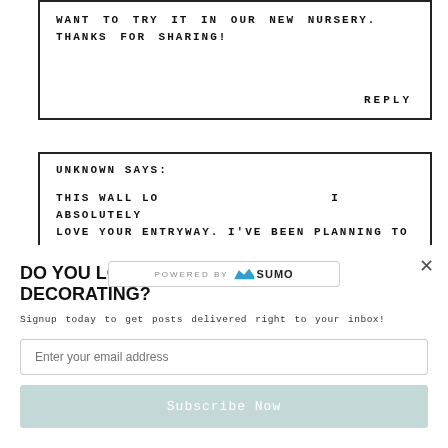WANT TO TRY IT IN OUR NEW NURSERY. THANKS FOR SHARING!
REPLY
UNKNOWN SAYS:
THIS WALL LO... I ABSOLUTELY LOVE YOUR ENTRYWAY. I'VE BEEN PLANNING TO
DO YOU LOVE DIY AND THRIFTY DECORATING?
Signup today to get posts delivered right to your inbox!
Enter your email address
Subscribe Now